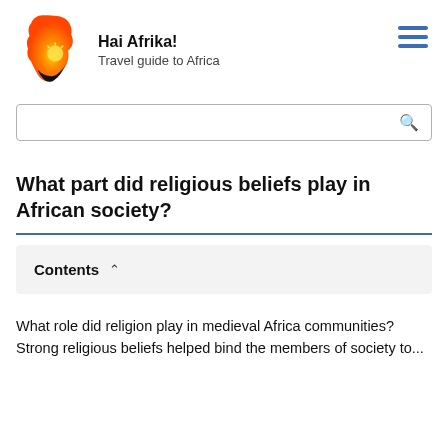[Figure (logo): Africa map logo with orange/sunset colors for Hai Afrika! travel guide]
Hai Afrika!
Travel guide to Africa
What role did religion play in medieval Africa communities? Strong religious beliefs helped bind the members of society to...
What part did religious beliefs play in African society?
Contents
What role did religion play in medieval Africa communities? Strong religious beliefs helped bind the members of society to...